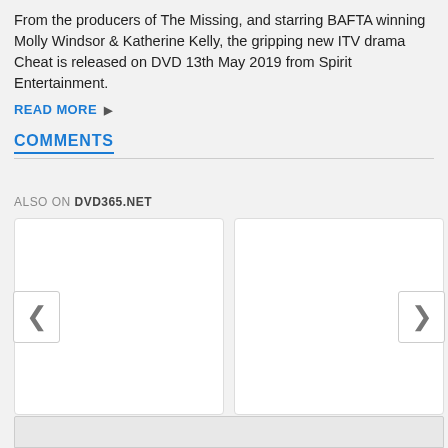From the producers of The Missing, and starring BAFTA winning Molly Windsor & Katherine Kelly, the gripping new ITV drama Cheat is released on DVD 13th May 2019 from Spirit Entertainment.
READ MORE ▶
COMMENTS
ALSO ON DVD365.NET
[Figure (other): Two content card placeholders with left and right navigation chevron buttons, part of a comments/related content carousel widget.]
[Figure (other): Bottom bar / footer element with light gray background.]